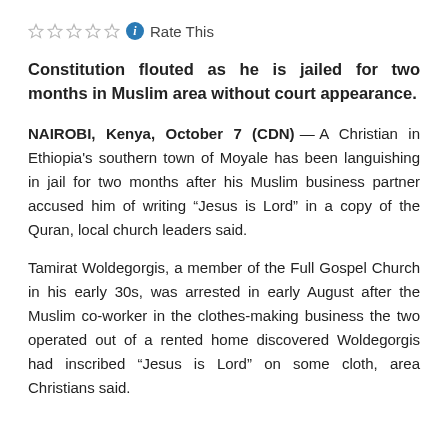Rate This
Constitution flouted as he is jailed for two months in Muslim area without court appearance.
NAIROBI, Kenya, October 7 (CDN) — A Christian in Ethiopia's southern town of Moyale has been languishing in jail for two months after his Muslim business partner accused him of writing “Jesus is Lord” in a copy of the Quran, local church leaders said.
Tamirat Woldegorgis, a member of the Full Gospel Church in his early 30s, was arrested in early August after the Muslim co-worker in the clothes-making business the two operated out of a rented home discovered Woldegorgis had inscribed “Jesus is Lord” on some cloth, area Christians said.